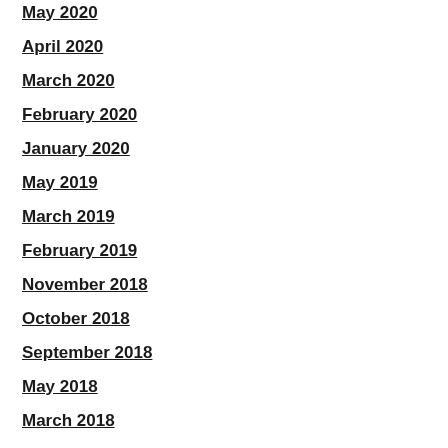May 2020
April 2020
March 2020
February 2020
January 2020
May 2019
March 2019
February 2019
November 2018
October 2018
September 2018
May 2018
March 2018
February 2018